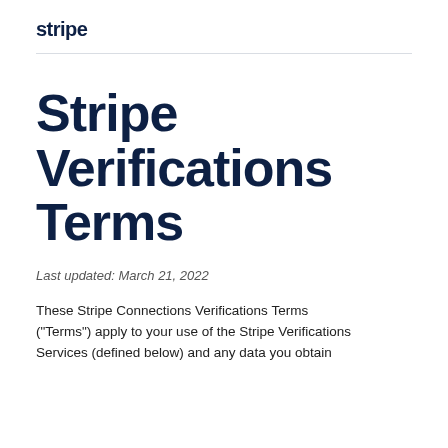stripe
Stripe Verifications Terms
Last updated: March 21, 2022
These Stripe Connections Verifications Terms ("Terms") apply to your use of the Stripe Verifications Services (defined below) and any data you obtain